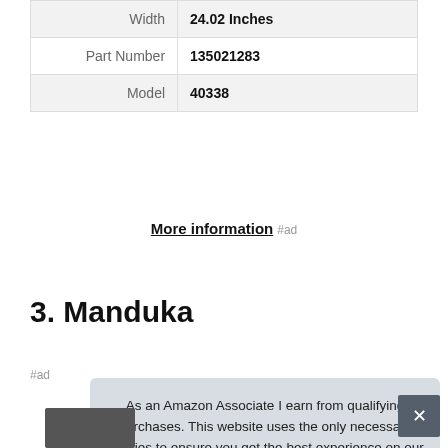| Width | 24.02 Inches |
| Part Number | 135021283 |
| Model | 40338 |
More information #ad
3. Manduka
#ad
As an Amazon Associate I earn from qualifying purchases. This website uses the only necessary cookies to ensure you get the best experience on our website. More information